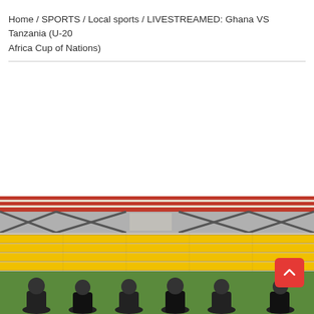Home / SPORTS / Local sports / LIVESTREAMED: Ghana VS Tanzania (U-20 Africa Cup of Nations)
[Figure (photo): Bottom portion of a sports stadium showing yellow seats and a red/white roof structure, with football players standing in a row in front of the stands.]